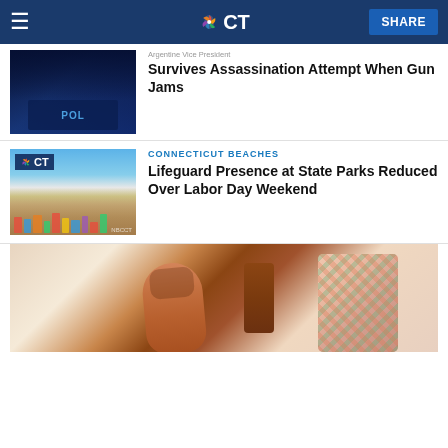NBC CT — SHARE
[Figure (photo): Police officers in blue jackets at night scene]
Argentine Vice President Survives Assassination Attempt When Gun Jams
[Figure (photo): Crowded beach scene on a sunny day with NBC CT logo badge]
CONNECTICUT BEACHES
Lifeguard Presence at State Parks Reduced Over Labor Day Weekend
[Figure (photo): Close-up of a cacao pod being held by a person in a floral shirt]